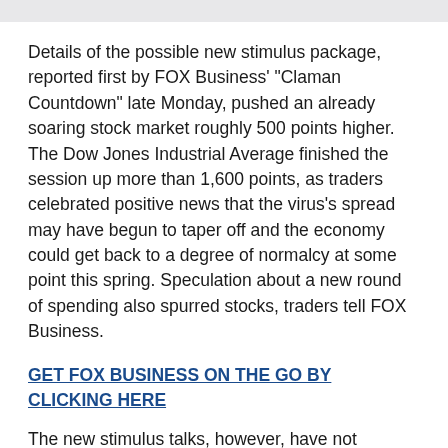Details of the possible new stimulus package, reported first by FOX Business' "Claman Countdown" late Monday, pushed an already soaring stock market roughly 500 points higher. The Dow Jones Industrial Average finished the session up more than 1,600 points, as traders celebrated positive news that the virus's spread may have begun to taper off and the economy could get back to a degree of normalcy at some point this spring. Speculation about a new round of spending also spurred stocks, traders tell FOX Business.
GET FOX BUSINESS ON THE GO BY CLICKING HERE
The new stimulus talks, however, have not dampened some of the criticism of the current stimulus plan; small business owners and banks have told FOX Business that the federal government was unprepared to begin administering the $350 billion in small business loans found in the first stimulus's round by its deadline last week.